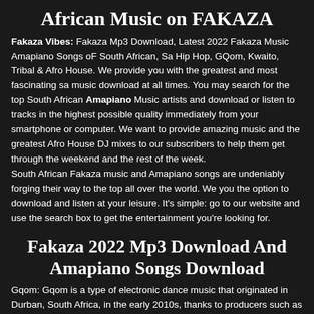African Music on FAKAZA
Fakaza Vibes: Fakaza Mp3 Download, Latest 2022 Fakaza Music Amapiano Songs oF South African, Sa Hip Hop, GQom, Kwaito, Tribal & Afro House. We provide you with the greatest and most fascinating sa music download at all times. You may search for the top South African Amapiano Music artists and download or listen to tracks in the highest possible quality immediately from your smartphone or computer. We want to provide amazing music and the greatest Afro House DJ mixes to our subscribers to help them get through the weekend and the rest of the week.
South African Fakaza music and Amapiano songs are undeniably forging their way to the top all over the world. We you the option to download and listen at your leisure. It's simple: go to our website and use the search box to get the entertainment you're looking for.
Fakaza 2022 Mp3 Download And Amapiano Songs Download
Gqom: Gqom is a type of electronic dance music that originated in Durban, South Africa, in the early 2010s, thanks to producers such as DJ Lag, Rudeboyz, Griffit Vigo, Dominowe, and Citizen Boy. It was